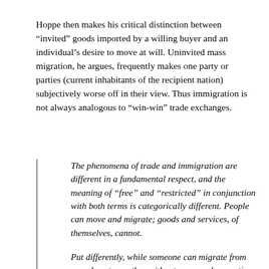Hoppe then makes his critical distinction between “invited” goods imported by a willing buyer and an individual’s desire to move at will. Uninvited mass migration, he argues, frequently makes one party or parties (current inhabitants of the recipient nation) subjectively worse off in their view. Thus immigration is not always analogous to “win-win” trade exchanges.
The phenomena of trade and immigration are different in a fundamental respect, and the meaning of “free” and “restricted” in conjunction with both terms is categorically different. People can move and migrate; goods and services, of themselves, cannot.
Put differently, while someone can migrate from one place to another without anyone else wanting him to do so, goods and services cannot be shipped from place to place unless both sender and receiver agree. Trivial as this distinction may appear, it has